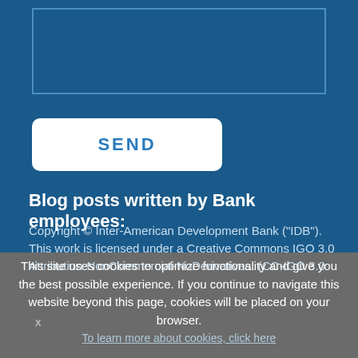[Figure (screenshot): Input text box with blue border on dark blue background]
SEND
Blog posts written by Bank employees:
Copyright © Inter-American Development Bank ("IDB"). This work is licensed under a Creative Commons IGO 3.0 Attribution-NonCommercial-NoDerivatives. (CC-IGO 3.0
This site uses cookies to optimize functionality and give you the best possible experience. If you continue to navigate this website beyond this page, cookies will be placed on your browser.
To learn more about cookies, click here
x